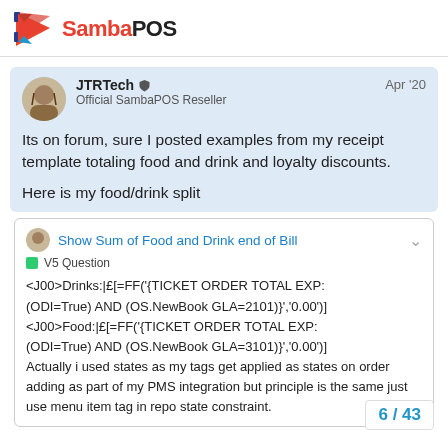SambaPOS
JTRTech  Official SambaPOS Reseller  Apr '20
Its on forum, sure I posted examples from my receipt template totaling food and drink and loyalty discounts.
Here is my food/drink split
Show Sum of Food and Drink end of Bill
V5 Question
<J00>Drinks:|£[=FF('{TICKET ORDER TOTAL EXP:(ODI=True) AND (OS.NewBook GLA=2101)}','0.00')]
<J00>Food:|£[=FF('{TICKET ORDER TOTAL EXP:(ODI=True) AND (OS.NewBook GLA=3101)}','0.00')]
Actually i used states as my tags get applied as states on order adding as part of my PMS integration but principle is the same just use menu item tag in repo state constraint.
6 / 43